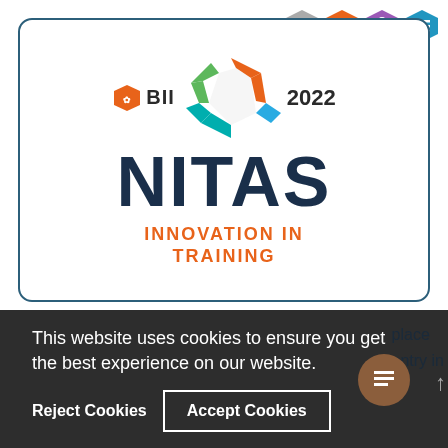[Figure (logo): NITAS BII 2022 Innovation in Training logo — colorful star graphic with orange, green, blue arrows forming a star shape; hexagonal BII badge in orange; bold dark navy NITAS text; orange INNOVATION IN TRAINING subtitle. Enclosed in a teal-bordered rounded rectangle card.]
[Figure (screenshot): Cookie consent banner overlay: dark background with text 'This website uses cookies to ensure you get the best experience on our website.' and two buttons: 'Reject Cookies' and 'Accept Cookies' (outlined). Partially obscures background content.]
place entry in